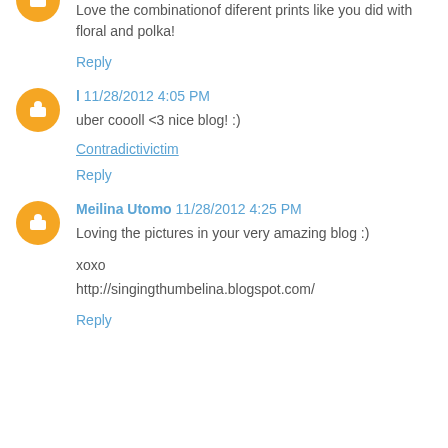Love the combinationof diferent prints like you did with floral and polka!
Reply
l 11/28/2012 4:05 PM
uber coooll <3 nice blog! :)
Contradictivictim
Reply
Meilina Utomo 11/28/2012 4:25 PM
Loving the pictures in your very amazing blog :)
xoxo
http://singingthumbelina.blogspot.com/
Reply